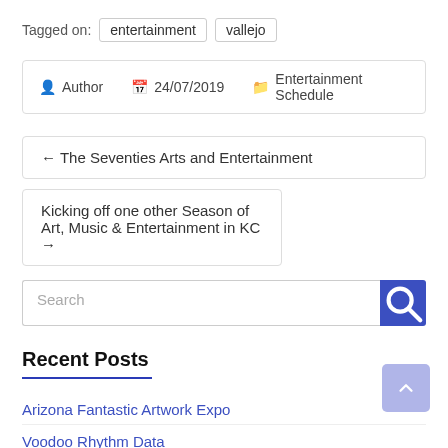Tagged on: entertainment  vallejo
Author  24/07/2019  Entertainment Schedule
← The Seventies Arts and Entertainment
Kicking off one other Season of Art, Music & Entertainment in KC →
Search
Recent Posts
Arizona Fantastic Artwork Expo
Voodoo Rhythm Data